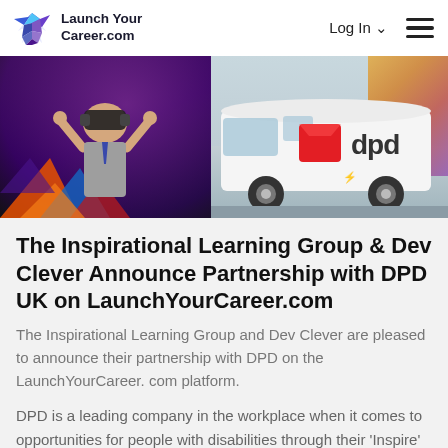LaunchYourCareer.com — Log In — (menu)
[Figure (photo): Split hero image: left side shows a person wearing a VR headset against a purple/dark urban background; right side shows a white DPD branded electric delivery van with the red DPD logo and 'dpd' text on the side.]
The Inspirational Learning Group & Dev Clever Announce Partnership with DPD UK on LaunchYourCareer.com
The Inspirational Learning Group and Dev Clever are pleased to announce their partnership with DPD on the LaunchYourCareer. com platform.
DPD is a leading company in the workplace when it comes to opportunities for people with disabilities through their 'Inspire' programme.